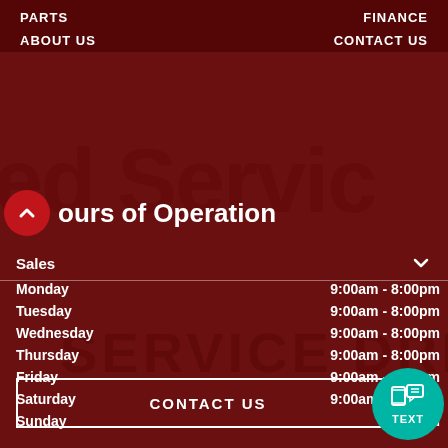PARTS  FINANCE
ABOUT US  CONTACT US
Hours of Operation
| Day | Hours |
| --- | --- |
| Monday | 9:00am - 8:00pm |
| Tuesday | 9:00am - 8:00pm |
| Wednesday | 9:00am - 8:00pm |
| Thursday | 9:00am - 8:00pm |
| Friday | 9:00am - 6:00pm |
| Saturday | 9:00am - 5:00pm |
| Sunday | Closed |
CONTACT US